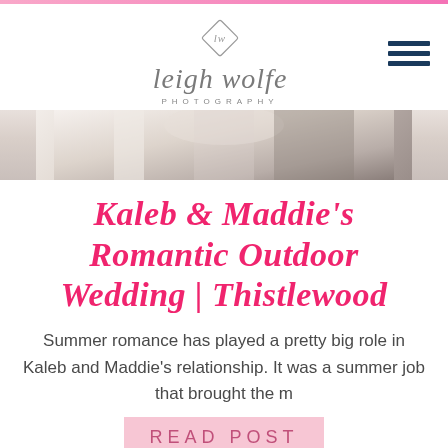[Figure (logo): Leigh Wolfe Photography logo with diamond monogram and cursive script]
[Figure (photo): Wedding couple photo, partially cropped, showing veil and formal wear]
Kaleb & Maddie's Romantic Outdoor Wedding | Thistlewood
Summer romance has played a pretty big role in Kaleb and Maddie's relationship. It was a summer job that brought the m
READ POST